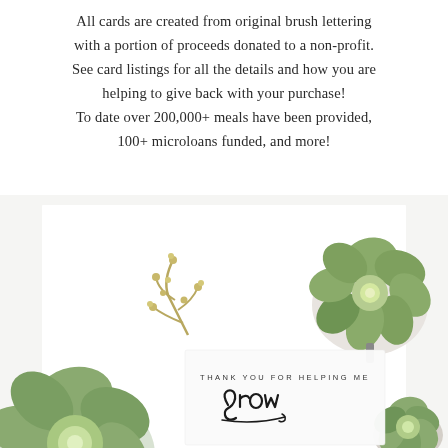All cards are created from original brush lettering with a portion of proceeds donated to a non-profit. See card listings for all the details and how you are helping to give back with your purchase! To date over 200,000+ meals have been provided, 100+ microloans funded, and more!
[Figure (photo): Decorative photo collage showing succulents, small budding branches, and a greeting card that reads 'THANK YOU FOR HELPING ME grow' in script lettering, arranged on a white background.]